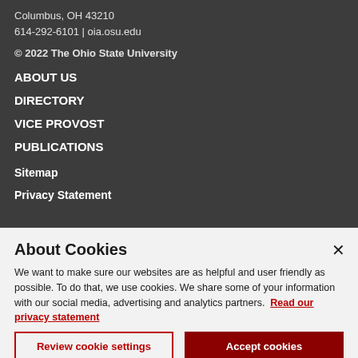Columbus, OH 43210
614-292-6101 | oia.osu.edu
© 2022 The Ohio State University
ABOUT US
DIRECTORY
VICE PROVOST
PUBLICATIONS
Sitemap
Privacy Statement
About Cookies
We want to make sure our websites are as helpful and user friendly as possible. To do that, we use cookies. We share some of your information with our social media, advertising and analytics partners.  Read our privacy statement
Review cookie settings
Accept cookies